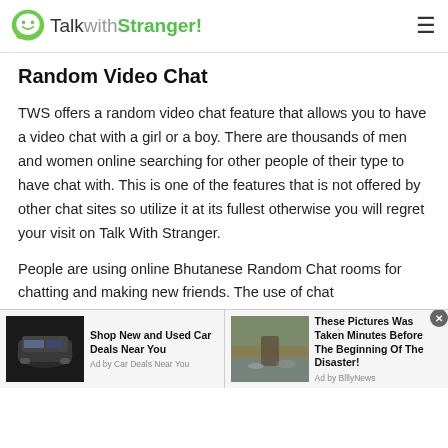TalkwithStranger!
Random Video Chat
TWS offers a random video chat feature that allows you to have a video chat with a girl or a boy. There are thousands of men and women online searching for other people of their type to have chat with. This is one of the features that is not offered by other chat sites so utilize it at its fullest otherwise you will regret your visit on Talk With Stranger.
People are using online Bhutanese Random Chat rooms for chatting and making new friends. The use of chat
[Figure (screenshot): Advertisement banner with two ad items: left ad shows a dark SUV with text 'Shop New and Used Car Deals Near You' by Car Deals Near You; right ad shows a flooded road scene with text 'These Pictures Was Taken Minutes Before The Beginning Of The Disaster!' by BlllyNews.]